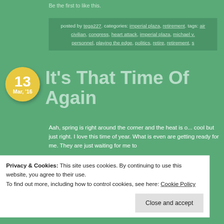Be the first to like this.
posted by tega227. categories: imperial plaza, retirement. tags: air civilian, congress, heart attack, imperial plaza, michael v. personnel, playing the edge, politics, retire, retirement, s
It's That Time Of Again
Aah, spring is right around the corner and the heat is o... cool but just right. I love this time of year. What is even are getting ready for me. They are just waiting for me to
Privacy & Cookies: This site uses cookies. By continuing to use this website, you agree to their use.
To find out more, including how to control cookies, see here: Cookie Policy
Close and accept